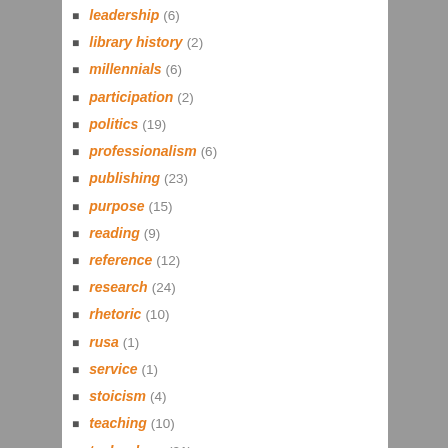leadership (6)
library history (2)
millennials (6)
participation (2)
politics (19)
professionalism (6)
publishing (23)
purpose (15)
reading (9)
reference (12)
research (24)
rhetoric (10)
rusa (1)
service (1)
stoicism (4)
teaching (10)
technology (21)
Uncategorized (159)
wikipedia (4)
writing (4)
RECENT POSTS